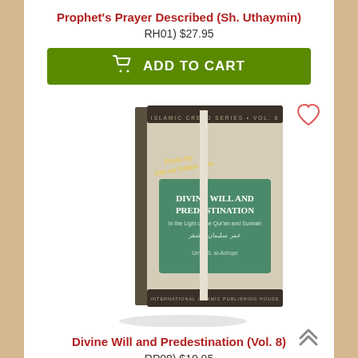Prophet's Prayer Described (Sh. Uthaymin)
RH01) $27.95
[Figure (screenshot): Green Add to Cart button with shopping cart icon]
[Figure (photo): Book cover: Divine Will and Predestination (Vol. 8), Islamic Creed Series Vol. 8, with watermark 'Photo by: Dar-us-Salam.com']
Divine Will and Predestination (Vol. 8)
RP08) $10.95